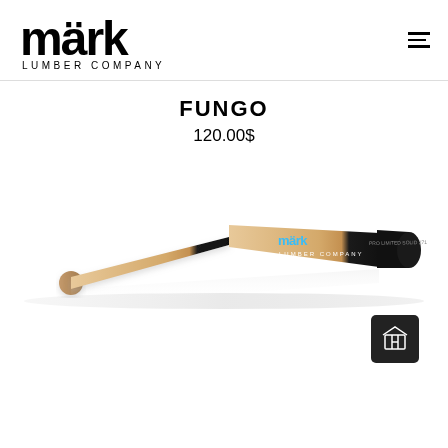[Figure (logo): Mark Lumber Company logo in bold black stylized text with umlaut over the 'a' in mark, LUMBER COMPANY in spaced capitals beneath]
FUNGO
120.00$
[Figure (photo): A baseball bat with natural wood finish on the barrel and handle end, transitioning to a black section near the barrel end with the Mark Lumber Company logo in blue and white text, angled diagonally on a white background with subtle reflection]